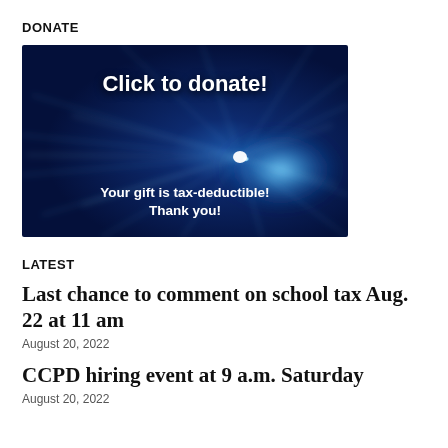DONATE
[Figure (illustration): Dark blue abstract energy/light burst background image with bold white text reading 'Click to donate!' at the top and 'Your gift is tax-deductible! Thank you!' at the bottom.]
LATEST
Last chance to comment on school tax Aug. 22 at 11 am
August 20, 2022
CCPD hiring event at 9 a.m. Saturday
August 20, 2022